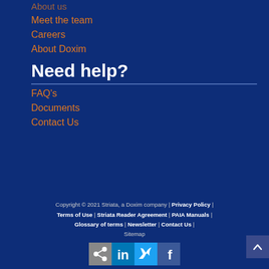About us
Meet the team
Careers
About Doxim
Need help?
FAQ's
Documents
Contact Us
Copyright © 2021 Striata, a Doxim company | Privacy Policy | Terms of Use | Striata Reader Agreement | PAIA Manuals | Glossary of terms | Newsletter | Contact Us | Sitemap
[Figure (infographic): Social media sharing icons: share button, LinkedIn, Twitter, Facebook]